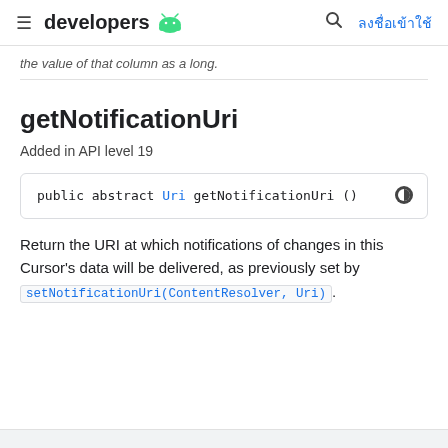developers  [Android logo]  [search]  ลงชื่อเข้าใช้
the value of that column as a long.
getNotificationUri
Added in API level 19
public abstract Uri getNotificationUri ()
Return the URI at which notifications of changes in this Cursor's data will be delivered, as previously set by setNotificationUri(ContentResolver, Uri).